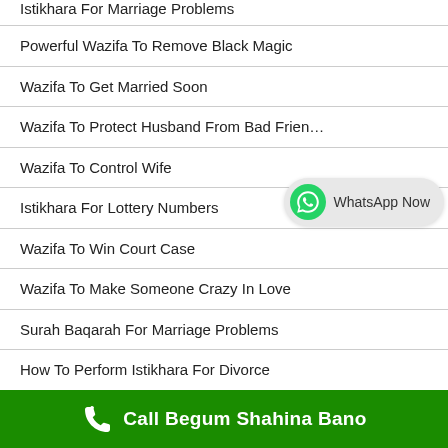Istikhara For Marriage Problems
Powerful Wazifa To Remove Black Magic
Wazifa To Get Married Soon
Wazifa To Protect Husband From Bad Friends
Wazifa To Control Wife
Istikhara For Lottery Numbers
Wazifa To Win Court Case
Wazifa To Make Someone Crazy In Love
Surah Baqarah For Marriage Problems
How To Perform Istikhara For Divorce
How To Use Online Istikhara To Cure Black Magic
Wazifa For Abusive Husband
[Figure (infographic): WhatsApp Now button with green WhatsApp logo icon on light grey rounded pill background]
Call Begum Shahina Bano